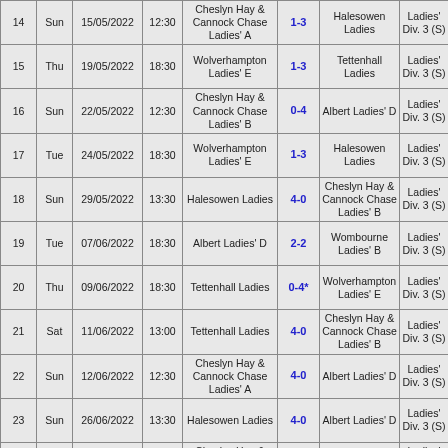| # | Day | Date | Time | Home | Score | Away | League |
| --- | --- | --- | --- | --- | --- | --- | --- |
| 14 | Sun | 15/05/2022 | 12:30 | Cheslyn Hay & Cannock Chase Ladies' A | 1-3 | Halesowen Ladies | Ladies' Div. 3 (S) |
| 15 | Thu | 19/05/2022 | 18:30 | Wolverhampton Ladies' E | 1-3 | Tettenhall Ladies | Ladies' Div. 3 (S) |
| 16 | Sun | 22/05/2022 | 12:30 | Cheslyn Hay & Cannock Chase Ladies' B | 0-4 | Albert Ladies' D | Ladies' Div. 3 (S) |
| 17 | Tue | 24/05/2022 | 18:30 | Wolverhampton Ladies' E | 1-3 | Halesowen Ladies | Ladies' Div. 3 (S) |
| 18 | Sun | 29/05/2022 | 13:30 | Halesowen Ladies | 4-0 | Cheslyn Hay & Cannock Chase Ladies' B | Ladies' Div. 3 (S) |
| 19 | Tue | 07/06/2022 | 18:30 | Albert Ladies' D | 2-2 | Wombourne Ladies' B | Ladies' Div. 3 (S) |
| 20 | Thu | 09/06/2022 | 18:30 | Tettenhall Ladies | 0-4* | Wolverhampton Ladies' E | Ladies' Div. 3 (S) |
| 21 | Sat | 11/06/2022 | 13:00 | Tettenhall Ladies | 4-0 | Cheslyn Hay & Cannock Chase Ladies' B | Ladies' Div. 3 (S) |
| 22 | Sun | 12/06/2022 | 12:30 | Cheslyn Hay & Cannock Chase Ladies' A | 4-0 | Albert Ladies' D | Ladies' Div. 3 (S) |
| 23 | Sun | 26/06/2022 | 13:30 | Halesowen Ladies | 4-0 | Albert Ladies' D | Ladies' Div. 3 (S) |
| 24 | Sun | 03/07/2022 | 12:30 | Cheslyn Hay & Cannock | 0-4 | Wolverhampton | Ladies' Div. 3 |